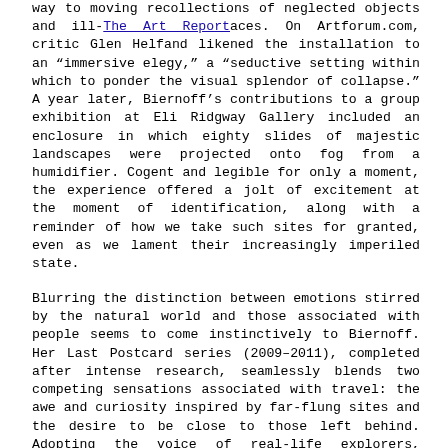way to moving recollections of neglected objects and ill-maintained spaces. On Artforum.com, critic Glen Helfand likened the installation to an “immersive elegy,” a “seductive setting within which to ponder the visual splendor of collapse.” A year later, Biernoff’s contributions to a group exhibition at Eli Ridgway Gallery included an enclosure in which eighty slides of majestic landscapes were projected onto fog from a humidifier. Cogent and legible for only a moment, the experience offered a jolt of excitement at the moment of identification, along with a reminder of how we take such sites for granted, even as we lament their increasingly imperiled state.
The Art Report
Blurring the distinction between emotions stirred by the natural world and those associated with people seems to come instinctively to Biernoff. Her Last Postcard series (2009–2011), completed after intense research, seamlessly blends two competing sensations associated with travel: the awe and curiosity inspired by far-flung sites and the desire to be close to those left behind. Adopting the voice of real-life explorers, Biernoff composes the final handwritten notes sent home before their disappearance, at the